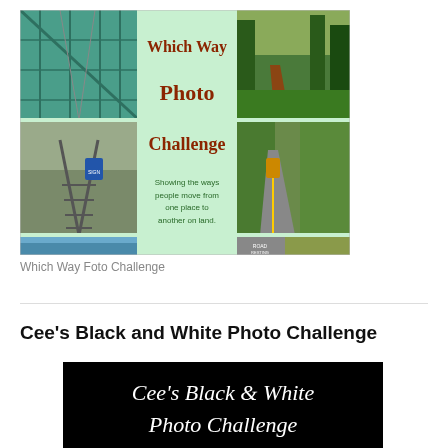[Figure (illustration): Which Way Photo Challenge banner image: collage of road and travel photos with text overlay reading 'Which Way Photo Challenge – Showing the ways people move from one place to another on land.']
Which Way Foto Challenge
Cee's Black and White Photo Challenge
[Figure (illustration): Cee's Black & White Photo Challenge banner image: white italic text on black background reading 'Cee's Black & White Photo Challenge']